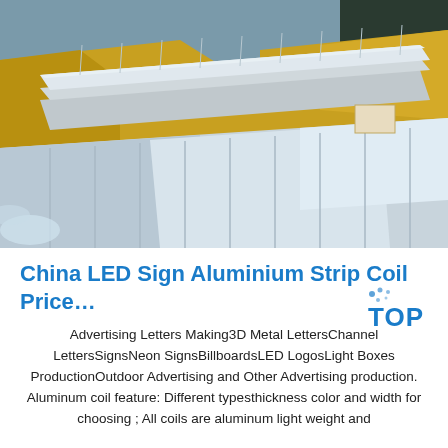[Figure (photo): Photo of stacked aluminium sheets/coils, some wrapped in golden/yellow paper packaging, showing metallic silver surfaces with ridged texture.]
China LED Sign Aluminium Strip Coil Price…
Advertising Letters Making3D Metal LettersChannel LettersSignsNeon SignsBillboardsLED LogosLight Boxes ProductionOutdoor Advertising and Other Advertising production. Aluminum coil feature: Different typesthickness color and width for choosing ; All coils are aluminum light weight and